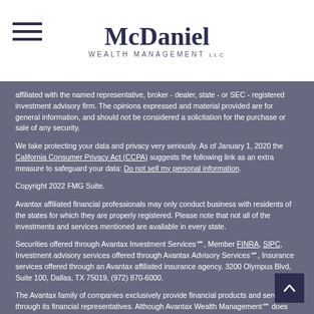McDaniel WEALTH MANAGEMENT LLC
affiliated with the named representative, broker - dealer, state - or SEC - registered investment advisory firm. The opinions expressed and material provided are for general information, and should not be considered a solicitation for the purchase or sale of any security.
We take protecting your data and privacy very seriously. As of January 1, 2020 the California Consumer Privacy Act (CCPA) suggests the following link as an extra measure to safeguard your data: Do not sell my personal information.
Copyright 2022 FMG Suite.
Avantax affiliated financial professionals may only conduct business with residents of the states for which they are properly registered. Please note that not all of the investments and services mentioned are available in every state.
Securities offered through Avantax Investment Services℠, Member FINRA, SIPC, Investment advisory services offered through Avantax Advisory Services℠, Insurance services offered through an Avantax affiliated insurance agency. 3200 Olympus Blvd, Suite 100, Dallas, TX 75019, (972) 870-6000.
The Avantax family of companies exclusively provide financial products and services through its financial representatives. Although Avantax Wealth Management℠ does not provide or supervise tax or accounting services, Avantax Representatives may offer these services through their independent outside